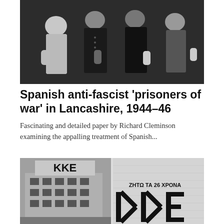[Figure (photo): Black and white photograph of several people standing together, likely Spanish anti-fascist prisoners of war]
Spanish anti-fascist 'prisoners of war' in Lancashire, 1944–46
Fascinating and detailed paper by Richard Cleminson examining the appalling treatment of Spanish...
[Figure (photo): Two black and white images side by side: left shows a building with KKE sign on top and city street scene; right shows a banner/poster with Greek text 'ZHTΩ TA 26 XPONA' and partial KKE letters]